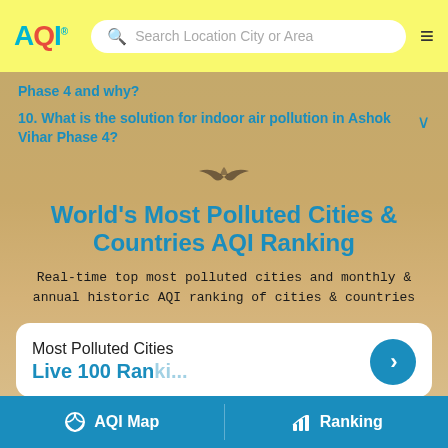AQI — Search Location City or Area (navigation bar)
Phase 4 and why?
10. What is the solution for indoor air pollution in Ashok Vihar Phase 4?
World's Most Polluted Cities & Countries AQI Ranking
Real-time top most polluted cities and monthly & annual historic AQI ranking of cities & countries
Most Polluted Cities
AQI Map | Ranking